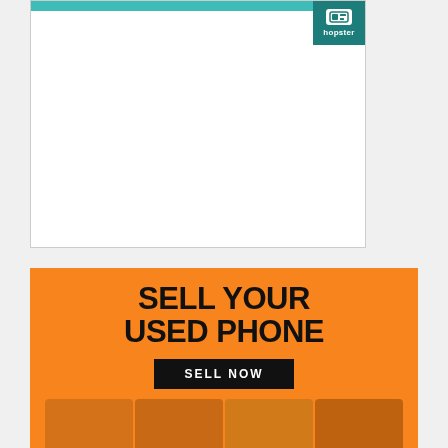[Figure (logo): Hopster logo in teal/dark teal box with white text and icon, positioned top-right of upper ad box]
[Figure (infographic): Orange advertisement banner: 'SELL YOUR USED PHONE' in large bold black text, black 'SELL NOW' button, people looking at phones at bottom]